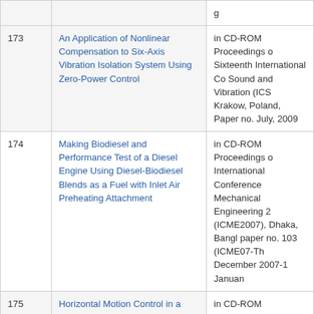| # | Title | Publication |
| --- | --- | --- |
| 173 | An Application of Nonlinear Compensation to Six-Axis Vibration Isolation System Using Zero-Power Control | in CD-ROM Proceedings of Sixteenth International Conference on Sound and Vibration (ICSV), Krakow, Poland, Paper no. ... July, 2009 |
| 174 | Making Biodiesel and Performance Test of a Diesel Engine Using Diesel-Biodiesel Blends as a Fuel with Inlet Air Preheating Attachment | in CD-ROM Proceedings of International Conference on Mechanical Engineering 2007 (ICME2007), Dhaka, Bangladesh, paper no. 103 (ICME07-Th...), December 2007-1 January... |
| 175 | Horizontal Motion Control in a Six-Axis Hybrid Vibration Isolation System using Zero-Power Control | in CD-ROM Proceedings of Asia Pacific Vibration Conference 2007, Sapporo, Japan, pp. 154, 6-9 August, 2007 |
| 176 | An Active Control of | in CD-ROM Proceedings of |